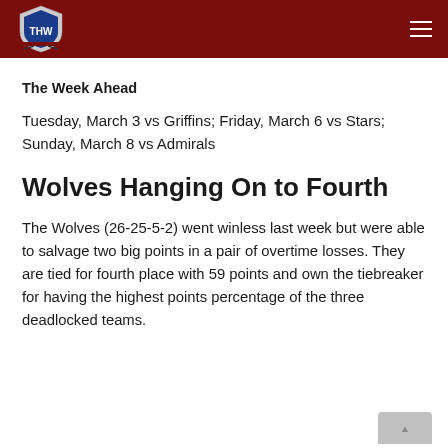THW logo and navigation header
The Week Ahead
Tuesday, March 3 vs Griffins; Friday, March 6 vs Stars; Sunday, March 8 vs Admirals
Wolves Hanging On to Fourth
The Wolves (26-25-5-2) went winless last week but were able to salvage two big points in a pair of overtime losses. They are tied for fourth place with 59 points and own the tiebreaker for having the highest points percentage of the three deadlocked teams.